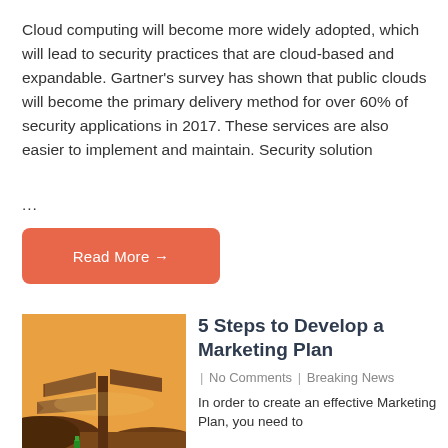Cloud computing will become more widely adopted, which will lead to security practices that are cloud-based and expandable. Gartner's survey has shown that public clouds will become the primary delivery method for over 60% of security applications in 2017. These services are also easier to implement and maintain. Security solution ...
Read More →
[Figure (illustration): Illustration of a crossroads signpost with brown directional signs on a yellow/orange desert background with dark hills]
5 Steps to Develop a Marketing Plan
| No Comments | Breaking News
In order to create an effective Marketing Plan, you need to